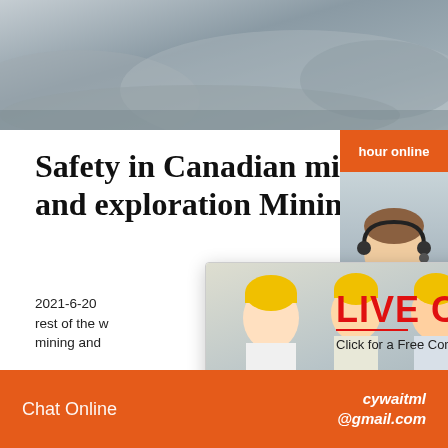[Figure (photo): Aerial or ground-level view of a mining site with grey rocky terrain]
Safety in Canadian mining and exploration Mining
2021-6-20 ... rest of the w... mining and ...
[Figure (screenshot): Live Chat popup overlay with workers in hard hats, LIVE CHAT heading in red, 'Click for a Free Consultation' subtext, and Chat now / Chat later buttons]
[Figure (photo): Right sidebar showing orange 'hour online' header, customer service agent with headset, orange Click to chat button, and Enquiry section]
[Figure (photo): Bottom strip showing a blurred metallic/industrial surface]
Chat Online   cywaitml @gmail.com